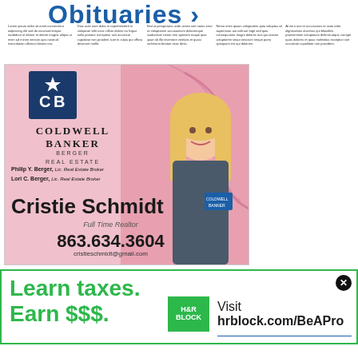Obituaries
[Figure (photo): Coldwell Banker Berger Real Estate advertisement featuring Cristie Schmidt, Full Time Realtor. Phone: 863.634.3604, email: cristieschmidt@gmail.com. Pink background with floral design and photo of blonde woman.]
[Figure (photo): H&R Block advertisement. Text: Learn taxes. Earn $$$. Visit hrblock.com/BeAPro]